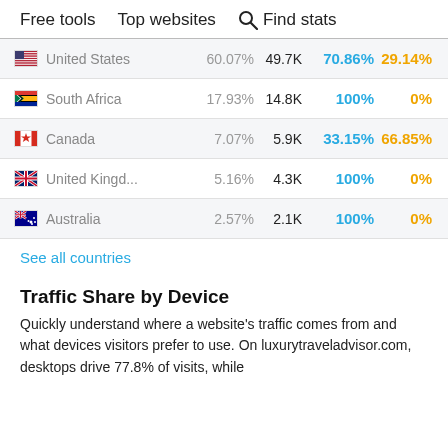Free tools   Top websites   🔍 Find stats
| Country | % Traffic | Visits | Desktop | Mobile |
| --- | --- | --- | --- | --- |
| United States | 60.07% | 49.7K | 70.86% | 29.14% |
| South Africa | 17.93% | 14.8K | 100% | 0% |
| Canada | 7.07% | 5.9K | 33.15% | 66.85% |
| United Kingd... | 5.16% | 4.3K | 100% | 0% |
| Australia | 2.57% | 2.1K | 100% | 0% |
See all countries
Traffic Share by Device
Quickly understand where a website's traffic comes from and what devices visitors prefer to use. On luxurytraveladvisor.com, desktops drive 77.8% of visits, while